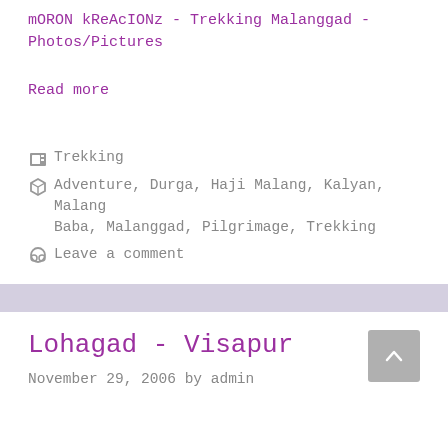mORON kReAcIONz - Trekking Malanggad - Photos/Pictures
Read more
Trekking
Adventure, Durga, Haji Malang, Kalyan, Malang Baba, Malanggad, Pilgrimage, Trekking
Leave a comment
Lohagad - Visapur
November 29, 2006 by admin